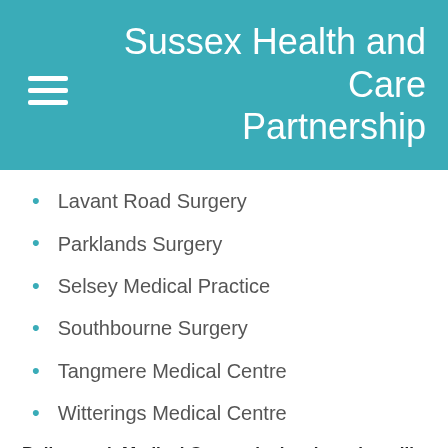Sussex Health and Care Partnership
Lavant Road Surgery
Parklands Surgery
Selsey Medical Practice
Southbourne Surgery
Tangmere Medical Centre
Witterings Medical Centre
Pulborough Medical Group, the local service will contact you directly if you are registered at:
Pulborough Medical Centre
Loxwood Surgery
Riverbank Medical Centre, the local service will contact you directly if you are registered at: